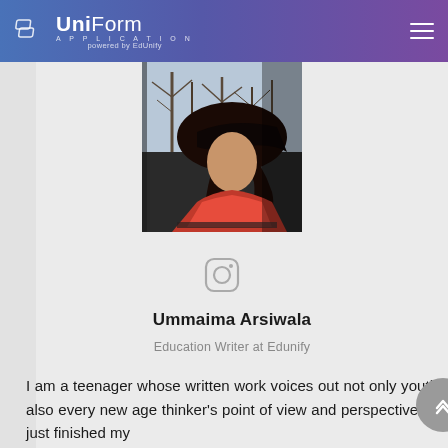UniForm Application powered by EdUnify
[Figure (photo): Profile photo of a person looking out a window, dark hair, wearing red, trees visible outside]
[Figure (other): Instagram icon (camera icon with rounded square outline)]
Ummaima Arsiwala
Education Writer at Edunify
I am a teenager whose written work voices out not only youth's but also every new age thinker's point of view and perspective. Having just finished my